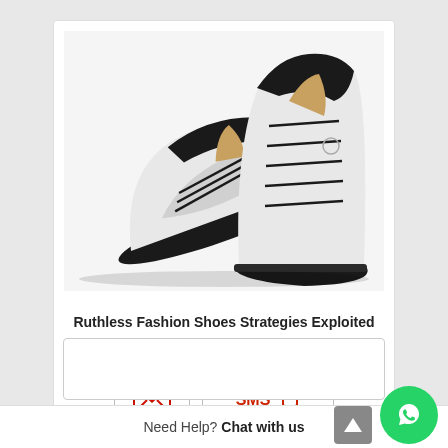[Figure (photo): Photo of two white and black leather lace-up ankle boots (Timberland style), one standing upright and one lying on its side, shown on white background]
Ruthless Fashion Shoes Strategies Exploited
Rp (Hubungi CS)
[Figure (other): Email icon button (red envelope icon)]
[Figure (other): SMS button with red SMS text and phone icon]
Need Help? Chat with us
[Figure (other): WhatsApp green circular chat button]
[Figure (other): Scroll to top grey button with up arrow]